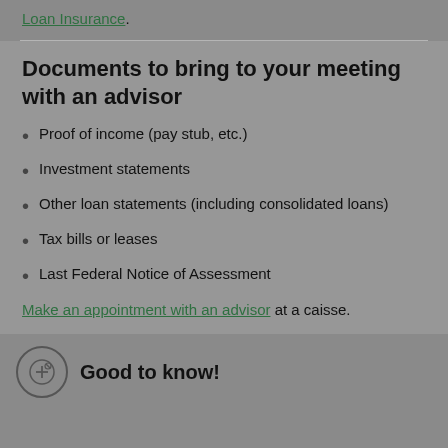Loan Insurance.
Documents to bring to your meeting with an advisor
Proof of income (pay stub, etc.)
Investment statements
Other loan statements (including consolidated loans)
Tax bills or leases
Last Federal Notice of Assessment
Make an appointment with an advisor at a caisse.
Good to know!